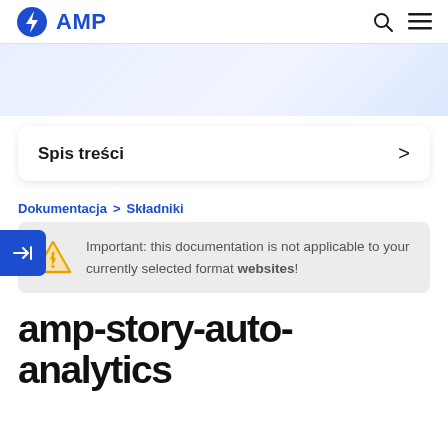AMP
Spis treści
Dokumentacja > Składniki
Important: this documentation is not applicable to your currently selected format websites!
amp-story-auto-analytics